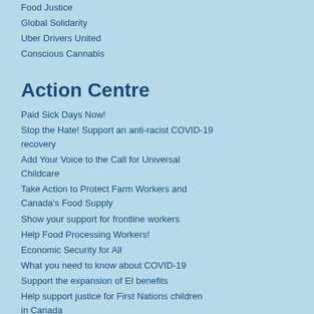Food Justice
Global Solidarity
Uber Drivers United
Conscious Cannabis
Action Centre
Paid Sick Days Now!
Stop the Hate! Support an anti-racist COVID-19 recovery
Add Your Voice to the Call for Universal Childcare
Take Action to Protect Farm Workers and Canada's Food Supply
Show your support for frontline workers
Help Food Processing Workers!
Economic Security for All
What you need to know about COVID-19
Support the expansion of EI benefits
Help support justice for First Nations children in Canada
Support Uber Drivers
Tell Sobeys to protect workers and ditch toxic receipts
Save The Beer Store
#NoMore campaign to end gender-based